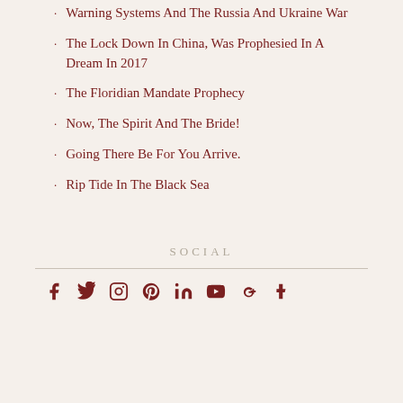Warning Systems And The Russia And Ukraine War
The Lock Down In China, Was Prophesied In A Dream In 2017
The Floridian Mandate Prophecy
Now, The Spirit And The Bride!
Going There Be For You Arrive.
Rip Tide In The Black Sea
SOCIAL
[Figure (other): Social media icons row: Facebook, Twitter, Instagram, Pinterest, LinkedIn, YouTube, Google+, Tumblr]